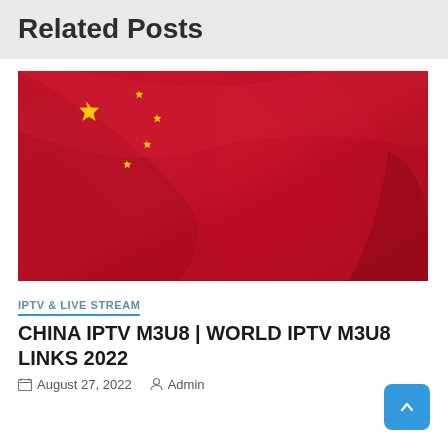Related Posts
[Figure (photo): Chinese flag (red with yellow stars) waving, close-up photo used as article thumbnail]
IPTV & LIVE STREAM
CHINA IPTV M3U8 | WORLD IPTV M3U8 LINKS 2022
August 27, 2022   Admin